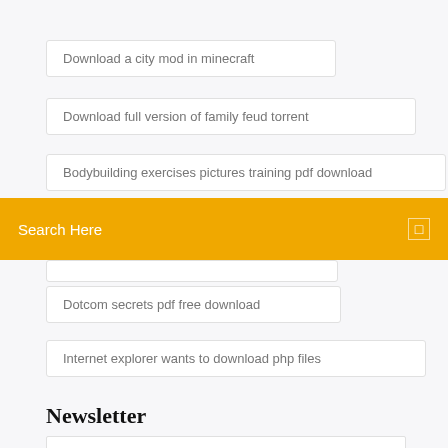Download a city mod in minecraft
Download full version of family feud torrent
Bodybuilding exercises pictures training pdf download
Search Here
Dotcom secrets pdf free download
Internet explorer wants to download php files
Newsletter